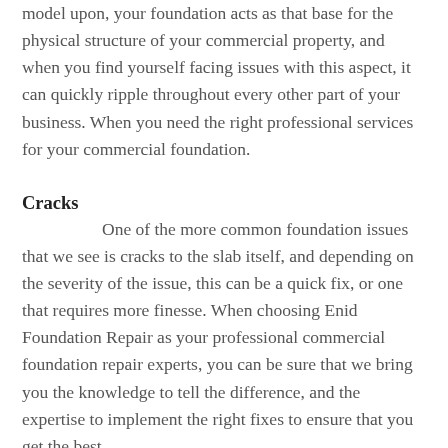model upon, your foundation acts as that base for the physical structure of your commercial property, and when you find yourself facing issues with this aspect, it can quickly ripple throughout every other part of your business. When you need the right professional services for your commercial foundation.
Cracks
One of the more common foundation issues that we see is cracks to the slab itself, and depending on the severity of the issue, this can be a quick fix, or one that requires more finesse. When choosing Enid Foundation Repair as your professional commercial foundation repair experts, you can be sure that we bring you the knowledge to tell the difference, and the expertise to implement the right fixes to ensure that you get the best